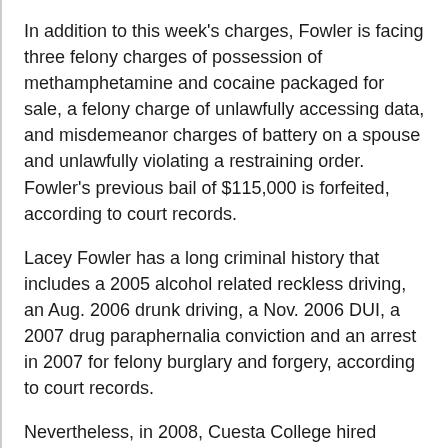In addition to this week's charges, Fowler is facing three felony charges of possession of methamphetamine and cocaine packaged for sale, a felony charge of unlawfully accessing data, and misdemeanor charges of battery on a spouse and unlawfully violating a restraining order. Fowler's previous bail of $115,000 is forfeited, according to court records.
Lacey Fowler has a long criminal history that includes a 2005 alcohol related reckless driving, an Aug. 2006 drunk driving, a Nov. 2006 DUI, a 2007 drug paraphernalia conviction and an arrest in 2007 for felony burglary and forgery, according to court records.
Nevertheless, in 2008, Cuesta College hired Fowler. Campus officials said they were aware of Fowler's criminal history, but said they can only consider drug and child abuse charges when hiring. Several Cuesta College employees question how campus officials could place a person with a history of forgery as